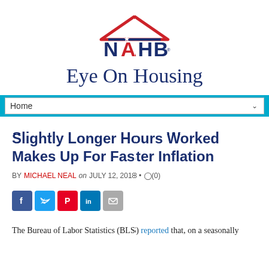[Figure (logo): NAHB Eye On Housing logo with house outline in navy and red, star in center, NAHB text in navy and red, and 'Eye On Housing' tagline in navy]
[Figure (other): Navigation bar with 'Home' dropdown selector on cyan/light-blue background]
Slightly Longer Hours Worked Makes Up For Faster Inflation
BY MICHAEL NEAL on JULY 12, 2018 • (0)
[Figure (other): Social media sharing icons: Facebook, Twitter, Pinterest, LinkedIn, Email]
The Bureau of Labor Statistics (BLS) reported that, on a seasonally